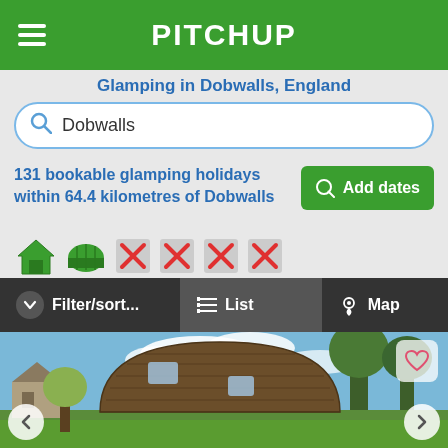PITCHUP
Glamping in Dobwalls, England
Dobwalls (search box)
131 bookable glamping holidays within 64.4 kilometres of Dobwalls
[Figure (screenshot): Filter/sort, List, Map navigation bar with dark background]
[Figure (photo): Glamping pod - a curved wooden barrel-shaped cabin on green grass with trees and blue sky in background]